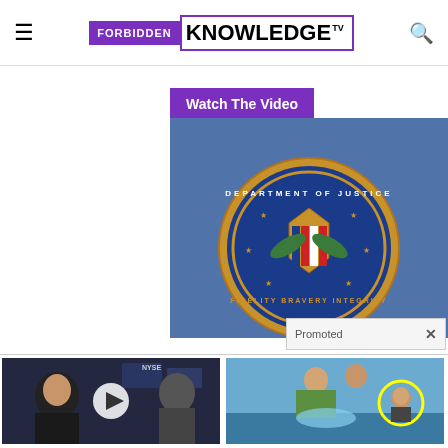FORBIDDEN KNOWLEDGE TV
Watch The Video
[Figure (screenshot): FBI / Department of Justice seal logo on blue background]
Promoted ×
[Figure (photo): Man being interviewed on financial news TV set (NFSE) with play button overlay]
Biden Probably Wants This Video Destroyed — Massive Currency Upheaval Has Started
Watch The Video
[Figure (photo): People at a water park pool with yellow circle highlighting a child in background]
Can't Wait For Summer? You've Got To See These Pics
Find Out More